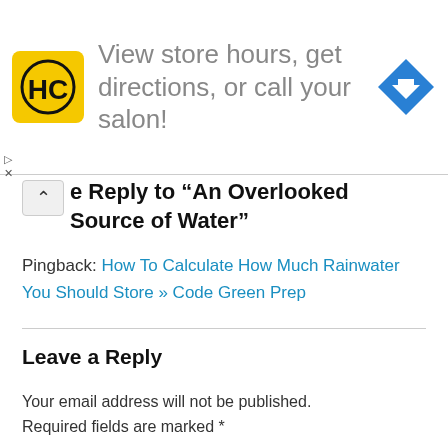[Figure (logo): Advertisement banner with HC salon logo (yellow square with HC letters), text 'View store hours, get directions, or call your salon!' and a blue diamond navigation arrow icon]
Leave Reply to “An Overlooked Source of Water”
Pingback: How To Calculate How Much Rainwater You Should Store » Code Green Prep
Leave a Reply
Your email address will not be published. Required fields are marked *